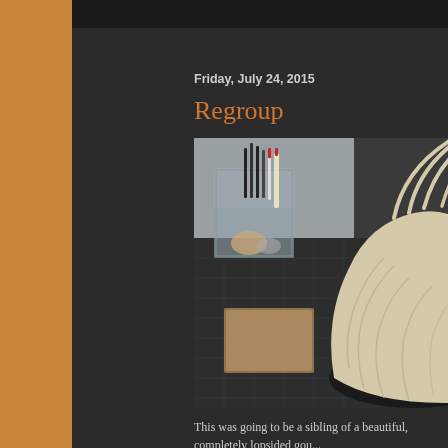Friday, July 24, 2015
Regroup
[Figure (photo): A coiled rope or twine basket/vessel with handle ropes extending upward, sitting on a dark cutting mat on a craft desk. In the background are clear acrylic organizer boxes with craft supplies including markers, glue, and twine.]
This was going to be a sibling of a beautiful, completely lopsided gou...